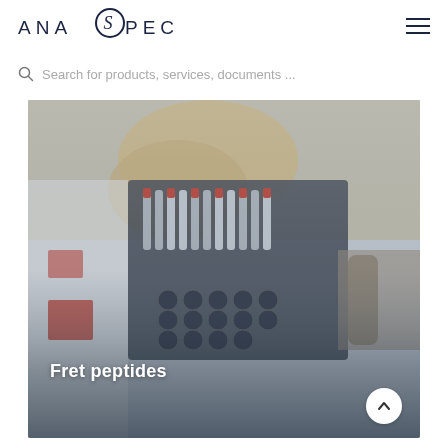[Figure (logo): AnaSpec company logo in dark navy with stylized S]
[Figure (other): Hamburger menu icon (three horizontal lines)]
Search for products, services, documents ...
[Figure (photo): Lab technician wearing yellow gloves handling multi-channel pipette or laboratory equipment with red-labeled vials in a dark equipment block]
Fret peptides